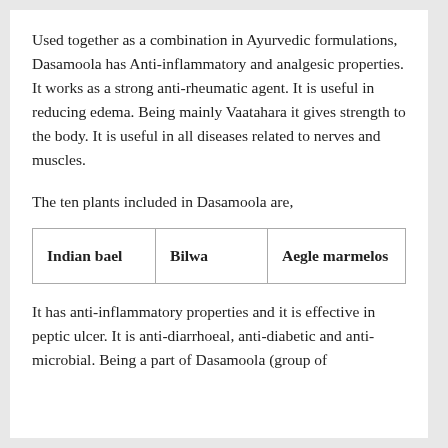Used together as a combination in Ayurvedic formulations, Dasamoola has Anti-inflammatory and analgesic properties. It works as a strong anti-rheumatic agent. It is useful in reducing edema. Being mainly Vaatahara it gives strength to the body. It is useful in all diseases related to nerves and muscles.
The ten plants included in Dasamoola are,
| Indian bael | Bilwa | Aegle marmelos |
It has anti-inflammatory properties and it is effective in peptic ulcer. It is anti-diarrhoeal, anti-diabetic and anti-microbial. Being a part of Dasamoola (group of